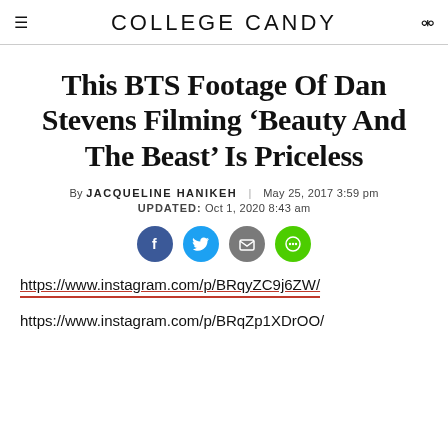COLLEGE CANDY
This BTS Footage Of Dan Stevens Filming ‘Beauty And The Beast’ Is Priceless
By JACQUELINE HANIKEH | May 25, 2017 3:59 pm
UPDATED: Oct 1, 2020 8:43 am
[Figure (infographic): Social share icons: Facebook (blue), Twitter (light blue), Email (grey), Message (green)]
https://www.instagram.com/p/BRqyZC9j6ZW/
https://www.instagram.com/p/BRqZp1XDrOO/